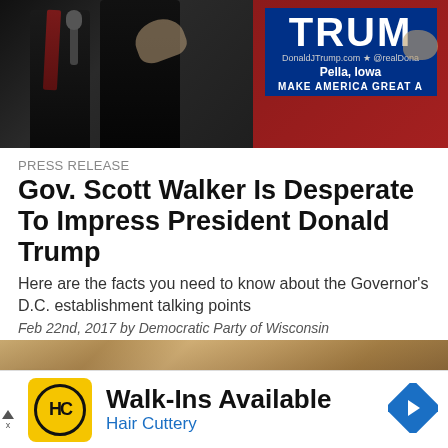[Figure (photo): Photo of men at a Trump campaign podium in Pella, Iowa. A red podium with TRUMP signage is visible with text: DonaldJTrump.com * @realDona, Pella, Iowa, MAKE AMERICA GREAT A]
PRESS RELEASE
Gov. Scott Walker Is Desperate To Impress President Donald Trump
Here are the facts you need to know about the Governor's D.C. establishment talking points
Feb 22nd, 2017 by Democratic Party of Wisconsin
[Figure (photo): Close-up photo of a woman with highlighted hair looking downward, partially obscured]
Walk-Ins Available
Hair Cuttery